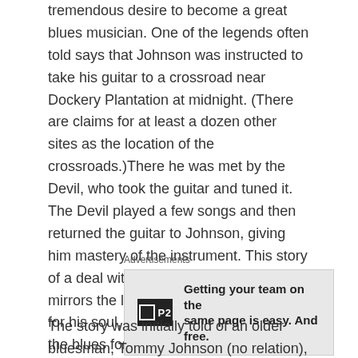tremendous desire to become a great blues musician. One of the legends often told says that Johnson was instructed to take his guitar to a crossroad near Dockery Plantation at midnight. (There are claims for at least a dozen other sites as the location of the crossroads.)There he was met by the Devil, who took the guitar and tuned it. The Devil played a few songs and then returned the guitar to Johnson, giving him mastery of the instrument. This story of a deal with the Devil at the crossroads mirrors the legend of Faust. In exchange for his soul, Johnson was able to create the blues for which he became famous.
[Figure (other): Advertisement box with P2 logo and text: Getting your team on the same page is easy. And free.]
The story was initially told of an older bluesman, Tommy Johnson (no relation), but he died in 1956, aged 60. It was more hauntingly apposite for Robert Johnson, who died in